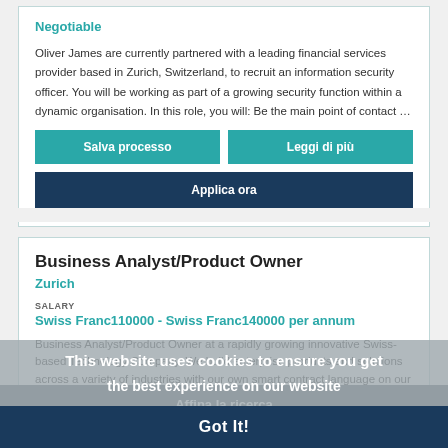Negotiable
Oliver James are currently partnered with a leading financial services provider based in Zurich, Switzerland, to recruit an information security officer. You will be working as part of a growing security function within a dynamic organisation. In this role, you will: Be the main point of contact …
Salva processo
Leggi di più
Applica ora
Business Analyst/Product Owner
Zurich
SALARY
Swiss Franc110000 - Swiss Franc140000 per annum
Business Analyst/Product Owner at a rapidly growing innovative Swiss-based Technology Company. We build enterprise products and solutions across a variety of industries with our own smart contract language on our cutting-edge technology. Our success is built on process-oriented distribu…
Read More
Salva processo
Leggi di più
Applica ora
This website uses cookies to ensure you get the best experience on our website
Got It!
Affina la ricerca
Lead Project Manager